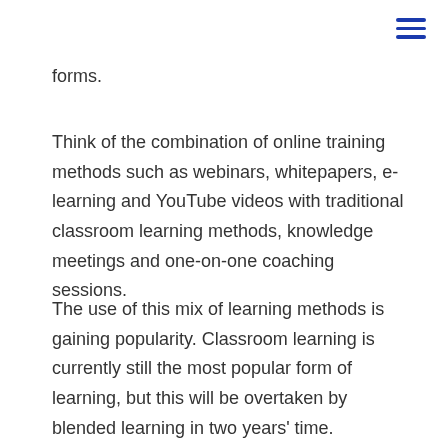[Figure (other): Hamburger menu icon (three horizontal blue lines) in top-right corner]
forms.
Think of the combination of online training methods such as webinars, whitepapers, e-learning and YouTube videos with traditional classroom learning methods, knowledge meetings and one-on-one coaching sessions.
The use of this mix of learning methods is gaining popularity. Classroom learning is currently still the most popular form of learning, but this will be overtaken by blended learning in two years' time.